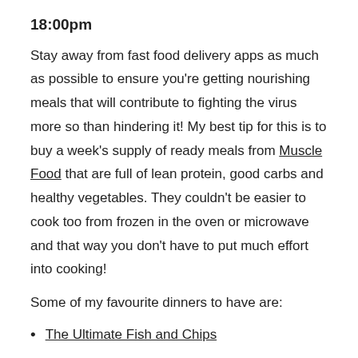18:00pm
Stay away from fast food delivery apps as much as possible to ensure you're getting nourishing meals that will contribute to fighting the virus more so than hindering it! My best tip for this is to buy a week's supply of ready meals from Muscle Food that are full of lean protein, good carbs and healthy vegetables. They couldn't be easier to cook too from frozen in the oven or microwave and that way you don't have to put much effort into cooking!
Some of my favourite dinners to have are:
The Ultimate Fish and Chips